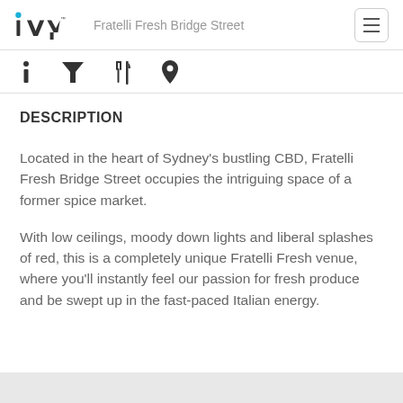iVvy  Fratelli Fresh Bridge Street
[Figure (infographic): Icon navigation bar with four icons: info (i), filter/funnel, restaurant/dining (fork and knife), and location pin]
DESCRIPTION
Located in the heart of Sydney’s bustling CBD, Fratelli Fresh Bridge Street occupies the intriguing space of a former spice market.
With low ceilings, moody down lights and liberal splashes of red, this is a completely unique Fratelli Fresh venue, where you’ll instantly feel our passion for fresh produce and be swept up in the fast-paced Italian energy.